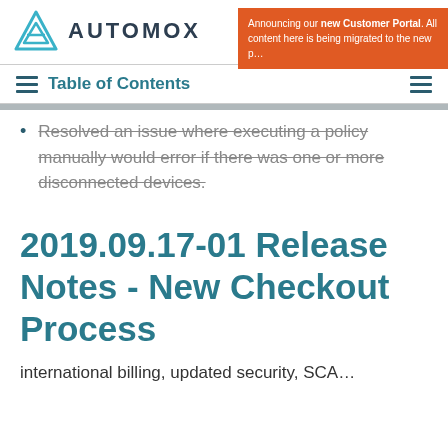AUTOMOX
Announcing our new Customer Portal. All content here is being migrated to the new p…
Table of Contents
Resolved an issue where executing a policy manually would error if there was one or more disconnected devices.
2019.09.17-01 Release Notes - New Checkout Process
international billing, updated security, SCA…